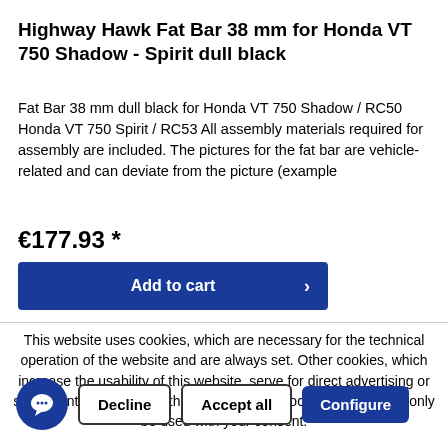Highway Hawk Fat Bar 38 mm for Honda VT 750 Shadow - Spirit dull black
Fat Bar 38 mm dull black for Honda VT 750 Shadow / RC50 Honda VT 750 Spirit / RC53 All assembly materials required for assembly are included. The pictures for the fat bar are vehicle-related and can deviate from the picture (example
€177.93 *
Add to cart
This website uses cookies, which are necessary for the technical operation of the website and are always set. Other cookies, which increase the usability of this website, serve for direct advertising or simplify interaction with other websites and social networks, will only be used with your consent.
Decline
Accept all
Configure